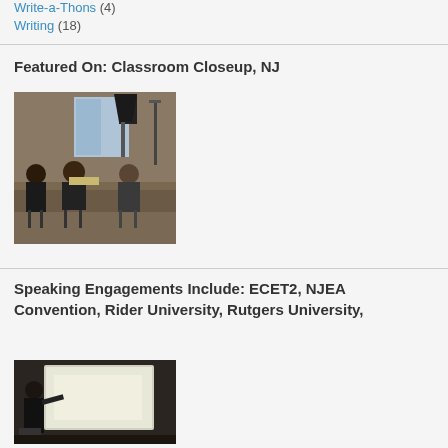Write-a-Thons (4)
Writing (18)
Featured On: Classroom Closeup, NJ
[Figure (photo): People seated in a room with studio lighting equipment, appears to be a TV/video filming session in a classroom or office setting]
Speaking Engagements Include: ECET2, NJEA Convention, Rider University, Rutgers University,
[Figure (photo): Person standing at a podium or presentation area pointing at a projected screen in a darkened room]